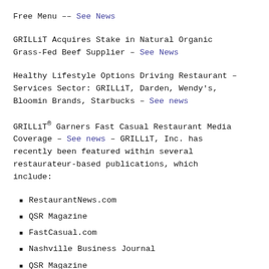Free Menu -- See News
GRILLiT Acquires Stake in Natural Organic Grass-Fed Beef Supplier – See News
Healthy Lifestyle Options Driving Restaurant – Services Sector: GRILLiT, Darden, Wendy's, Bloomin Brands, Starbucks – See news
GRILLiT® Garners Fast Casual Restaurant Media Coverage – See news – GRILLiT, Inc. has recently been featured within several restaurateur-based publications, which include:
RestaurantNews.com
QSR Magazine
FastCasual.com
Nashville Business Journal
QSR Magazine